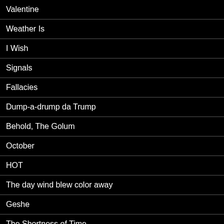Valentine
Weather Is
I Wish
Signals
Fallacies
Dump-a-drump da Trump
Behold, The Golum
October
HOT
The day wind blew color away
Geshe
The Shortness of Time